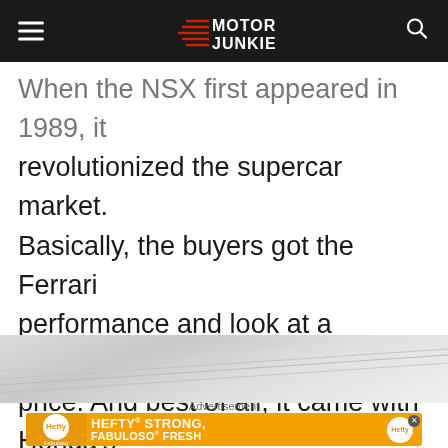Motor Junkie (logo header)
When the NSX first appeared in 1989, it revolutionized the supercar market. Basically, the buyers got the Ferrari performance and look at a supermarket price. And best of all, it came with Honda’s signature reliability and maintenance costs.
[Figure (photo): Gray automotive image area, partially visible]
Advertisement
[Figure (other): Hefty advertisement banner: HEFTY STRONG, FABULOSO FRESH]